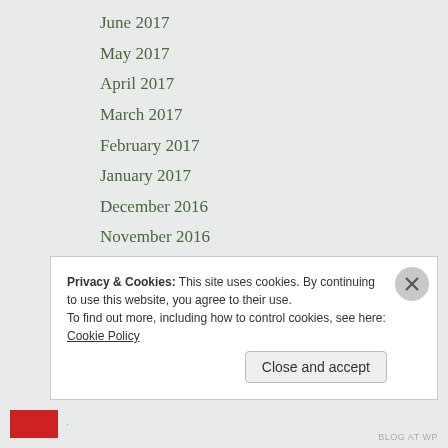June 2017
May 2017
April 2017
March 2017
February 2017
January 2017
December 2016
November 2016
October 2016
September 2016
August 2016
July 2016
May 2016
April 2016
Privacy & Cookies: This site uses cookies. By continuing to use this website, you agree to their use.
To find out more, including how to control cookies, see here: Cookie Policy
Close and accept